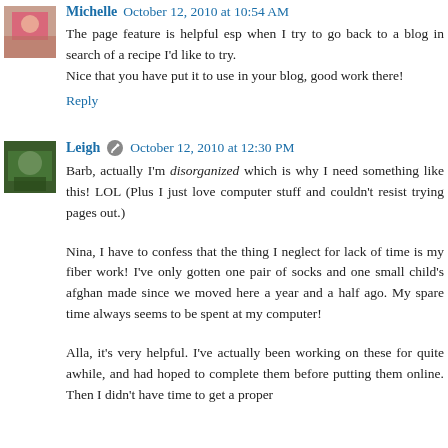Michelle  October 12, 2010 at 10:54 AM
The page feature is helpful esp when I try to go back to a blog in search of a recipe I'd like to try.
Nice that you have put it to use in your blog, good work there!
Reply
Leigh  October 12, 2010 at 12:30 PM
Barb, actually I'm disorganized which is why I need something like this! LOL (Plus I just love computer stuff and couldn't resist trying pages out.)
Nina, I have to confess that the thing I neglect for lack of time is my fiber work! I've only gotten one pair of socks and one small child's afghan made since we moved here a year and a half ago. My spare time always seems to be spent at my computer!
Alla, it's very helpful. I've actually been working on these for quite awhile, and had hoped to complete them before putting them online. Then I didn't have time to get a proper...